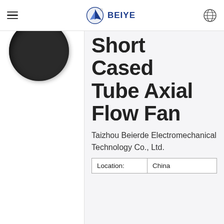BEIYE
[Figure (photo): Partial view of a short cased tube axial flow fan product, dark circular shape visible in upper left]
Short Cased Tube Axial Flow Fan
Taizhou Beierde Electromechanical Technology Co., Ltd.
| Location: | China |
| --- | --- |